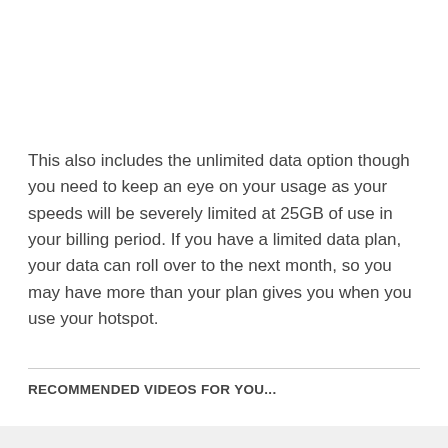This also includes the unlimited data option though you need to keep an eye on your usage as your speeds will be severely limited at 25GB of use in your billing period. If you have a limited data plan, your data can roll over to the next month, so you may have more than your plan gives you when you use your hotspot.
RECOMMENDED VIDEOS FOR YOU...